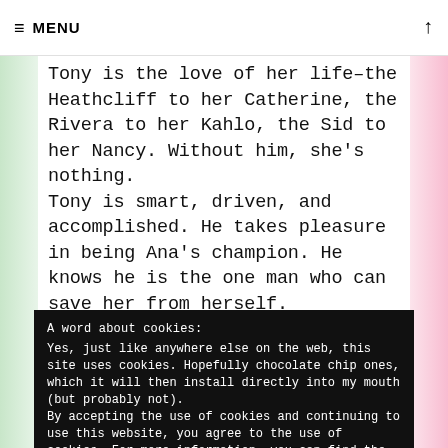≡ MENU
Tony is the love of her life–the Heathcliff to her Catherine, the Rivera to her Kahlo, the Sid to her Nancy. Without him, she's nothing.
Tony is smart, driven, and accomplished. He takes pleasure in being Ana's champion. He knows he is the one man who can save her from herself.
But their marriage is put to the test when their
A word about cookies:
Yes, just like anywhere else on the web, this site uses cookies. Hopefully chocolate chip ones, which it will then install directly into my mouth (but probably not).
By accepting the use of cookies and continuing to use this website, you agree to the use of cookies. For more information, you can find the most reputable source of information this side of Cookie Monster via the Cookie Policy
Go on, do your cookie thing
addiction, and trauma. Sweet Baby Mine is the